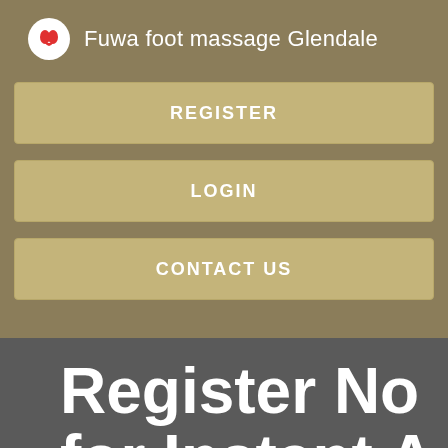[Figure (screenshot): App logo circle with heart/footprint icon in red on white background]
Fuwa foot massage Glendale
REGISTER
LOGIN
CONTACT US
Register No for Instant A